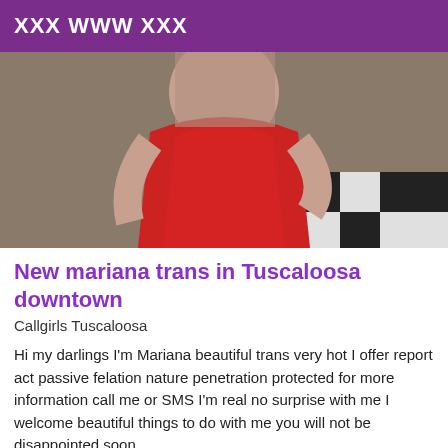XXX WWW XXX
[Figure (photo): Photo of a person wearing a red outfit, checkered floor visible in background]
New mariana trans in Tuscaloosa downtown
Callgirls Tuscaloosa
Hi my darlings I'm Mariana beautiful trans very hot I offer report act passive felation nature penetration protected for more information call me or SMS I'm real no surprise with me I welcome beautiful things to do with me you will not be disappointed soon.